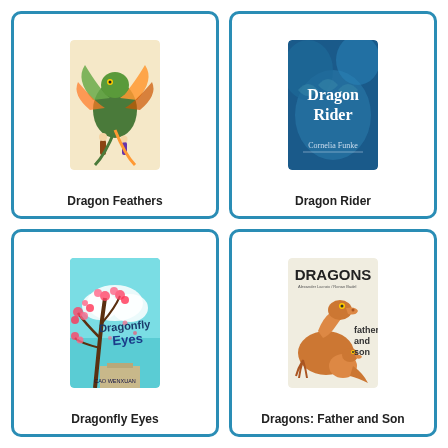[Figure (illustration): Book cover for Dragon Feathers showing a colorful dragon with feathers and small figures]
Dragon Feathers
[Figure (illustration): Book cover for Dragon Rider by Cornelia Funke showing a blue dragon background with white title text]
Dragon Rider
[Figure (illustration): Book cover for Dragonfly Eyes by Cao Wenxuan showing cherry blossom trees and teal background]
Dragonfly Eyes
[Figure (illustration): Book cover for Dragons: Father and Son showing cartoon orange dragons]
Dragons: Father and Son